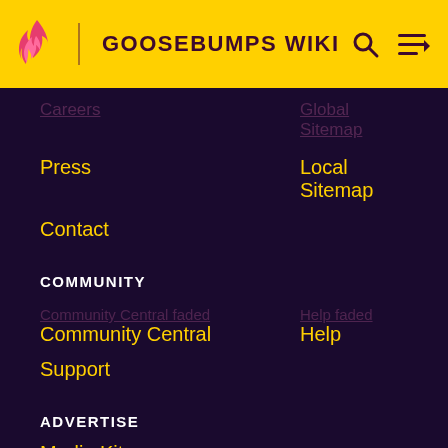GOOSEBUMPS WIKI
Careers
Global Sitemap
Press
Local Sitemap
Contact
COMMUNITY
Community Central
Help
Support
ADVERTISE
Media Kit
Fandomatic
Contact